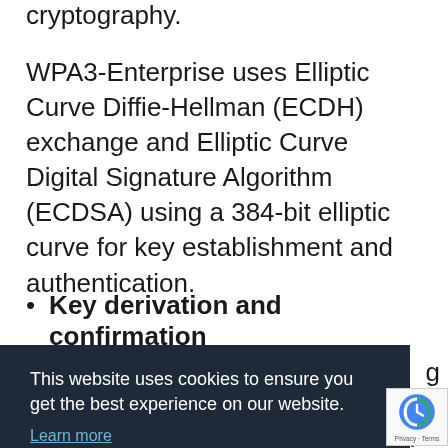cryptography.
WPA3-Enterprise uses Elliptic Curve Diffie-Hellman (ECDH) exchange and Elliptic Curve Digital Signature Algorithm (ECDSA) using a 384-bit elliptic curve for key establishment and authentication.
Key derivation and confirmation
[Figure (screenshot): Cookie consent overlay with dark navy background. Text reads 'This website uses cookies to ensure you get the best experience on our website.' with a 'Learn more' link and a teal 'Got it!' button. Partially visible text behind the overlay includes 'g', 'PA3-', and 'Hash Algorithm (HMAC-SHA384).' A reCAPTCHA badge is visible in the bottom right corner.]